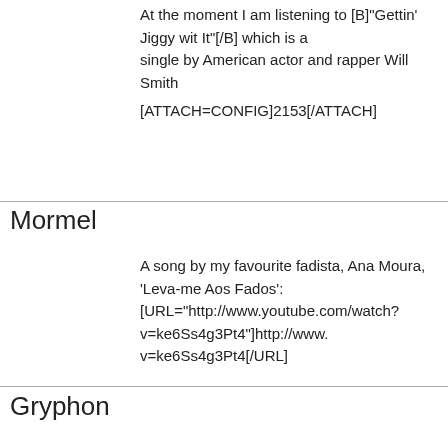At the moment I am listening to [B]"Gettin' Jiggy wit It"[/B] which is a single by American actor and rapper Will Smith
[ATTACH=CONFIG]2153[/ATTACH]
Mormel
A song by my favourite fadista, Ana Moura, 'Leva-me Aos Fados':
[URL="http://www.youtube.com/watch?v=ke6Ss4g3Pt4"]http://www. v=ke6Ss4g3Pt4[/URL]
Gryphon
Taking care of Business by BTO
Pharozonk
Down Under - Men at Work